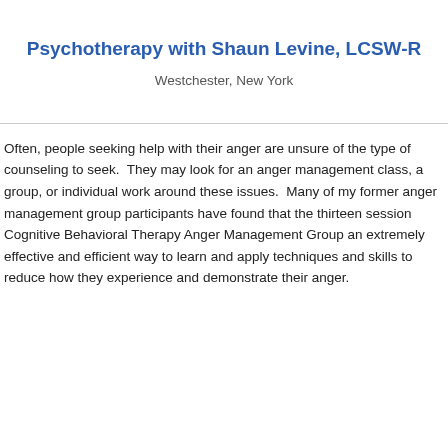Psychotherapy with Shaun Levine, LCSW-R
Westchester, New York
Often, people seeking help with their anger are unsure of the type of counseling to seek.  They may look for an anger management class, a group, or individual work around these issues.  Many of my former anger management group participants have found that the thirteen session Cognitive Behavioral Therapy Anger Management Group an extremely effective and efficient way to learn and apply techniques and skills to reduce how they experience and demonstrate their anger.